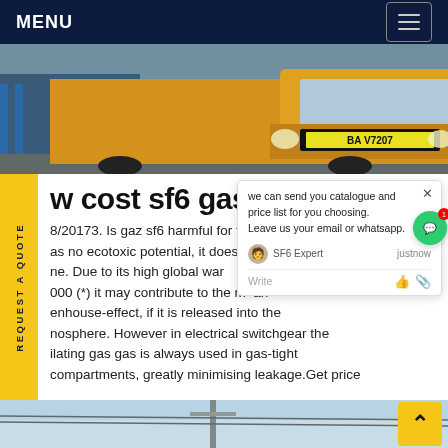MENU
[Figure (photo): Yellow truck with license plate BA V7207 photographed from the front, parked outdoors with blue/green background]
w cost sf6 gas swi... ain
8/20173. Is gaz sf6 harmful for the environment? Although SF6 has no ecotoxic potential, it does not harm the ozone layer. Due to its high global warming potential of 23,900 (*) it may contribute to the man-made greenhouse-effect, if it is released into the atmosphere. However in electrical switchgear the insulating gas gas is always used in gas-tight compartments, greatly minimising leakage. Get price
[Figure (screenshot): Chat popup overlay showing: 'we can send you catalogue and price list for you choosing. Leave us your email or whatsapp.' with SF6 Expert agent listed as 'justnow' and a Write input field with like and attachment icons]
[Figure (photo): Bottom partial image showing blue sky with power line infrastructure/pole]
[Figure (other): Yellow back-to-top button with upward caret arrow in bottom right corner]